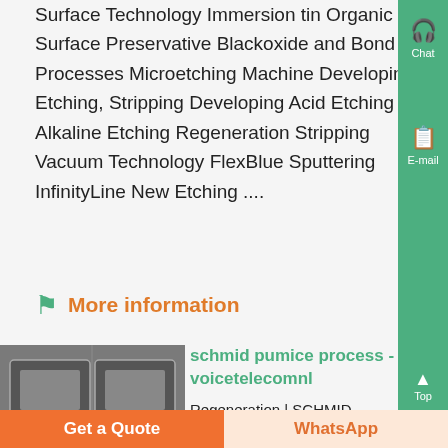Surface Technology Immersion tin Organic Surface Preservative Blackoxide and Bond Processes Microetching Machine Developing, Etching, Stripping Developing Acid Etching Alkaline Etching Regeneration Stripping Vacuum Technology FlexBlue Sputtering InfinityLine New Etching ....
More information
[Figure (photo): Industrial machine or equipment, gray/silver tones, possibly a PCB processing machine]
schmid pumice process - voicetelecomnl
Regeneration | SCHMID Group,
Get a Quote
WhatsApp